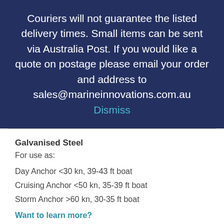Couriers will not guarantee the listed delivery times. Small items can be sent via Australia Post. If you would like a quote on postage please email your order and address to sales@marineinnovations.com.au Dismiss
Galvanised Steel
For use as:
Day Anchor <30 kn, 39-43 ft boat
Cruising Anchor <50 kn, 35-39 ft boat
Storm Anchor >60 kn, 30-35 ft boat
Want to learn more?